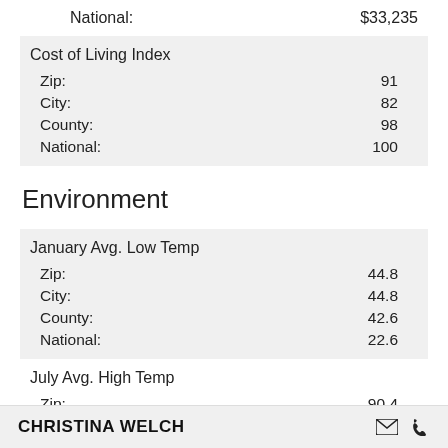National: $33,235
| Cost of Living Index |  |
| --- | --- |
| Zip: | 91 |
| City: | 82 |
| County: | 98 |
| National: | 100 |
Environment
| January Avg. Low Temp |  |
| --- | --- |
| Zip: | 44.8 |
| City: | 44.8 |
| County: | 42.6 |
| National: | 22.6 |
| July Avg. High Temp |  |
| --- | --- |
| Zip: | 90.4 |
| City: | 90.4 |
| County: |  |
CHRISTINA WELCH